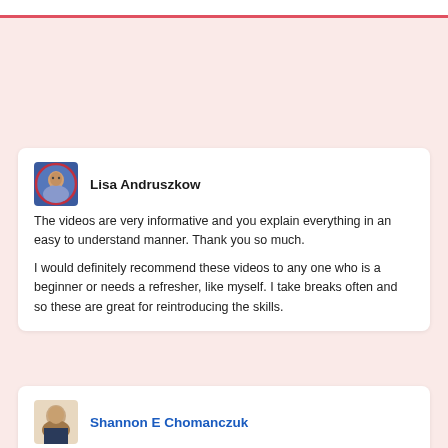Lisa Andruszkow
The videos are very informative and you explain everything in an easy to understand manner. Thank you so much.

I would definitely recommend these videos to any one who is a beginner or needs a refresher, like myself. I take breaks often and so these are great for reintroducing the skills.
Shannon E Chomanczuk
I enjoyed the videos. They are great for all levels. The